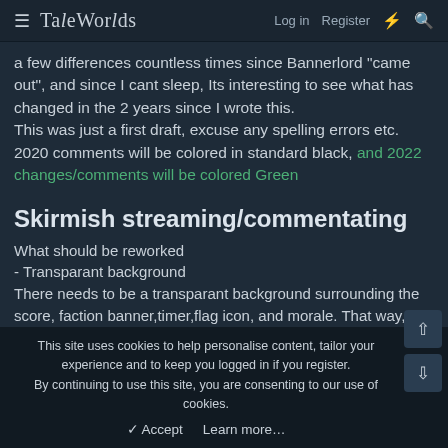TaleWorlds — Log in  Register
a few differences countless times since Bannerlord "came out", and since I cant sleep, Its interesting to see what has changed in the 2 years since I wrote this.
This was just a first draft, excuse any spelling errors etc.
2020 comments will be colored in standard black, and 2022 changes/comments will be colored Green
Skirmish streaming/commentating
What should be reworked
- Transparant background
There needs to be a transparant background surrounding the score, faction banner,timer,flag icon, and morale. That way, the
This site uses cookies to help personalise content, tailor your experience and to keep you logged in if you register.
By continuing to use this site, you are consenting to our use of cookies.
✓ Accept    Learn more…